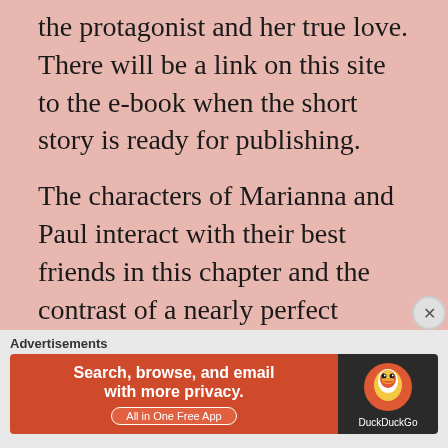the protagonist and her true love. There will be a link on this site to the e-book when the short story is ready for publishing.
The characters of Marianna and Paul interact with their best friends in this chapter and the contrast of a nearly perfect relationship is compared to one that is deteriorating at a fast pace.  The comparison reveals a remarkable and emotional climax in the story.  Descriptions of Orange County,
Advertisements
[Figure (other): DuckDuckGo advertisement banner: orange background on left with text 'Search, browse, and email with more privacy. All in One Free App' and dark background on right with DuckDuckGo logo and brand name.]